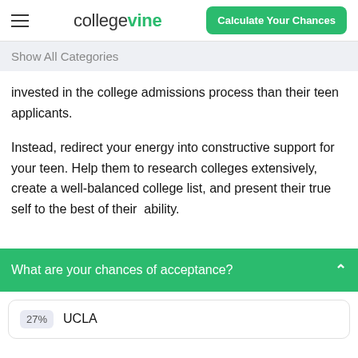collegeVine | Calculate Your Chances
Show All Categories
invested in the college admissions process than their teen applicants.
Instead, redirect your energy into constructive support for your teen. Help them to research colleges extensively, create a well-balanced college list, and present their true self to the best of their ability.
What are your chances of acceptance?
27% UCLA